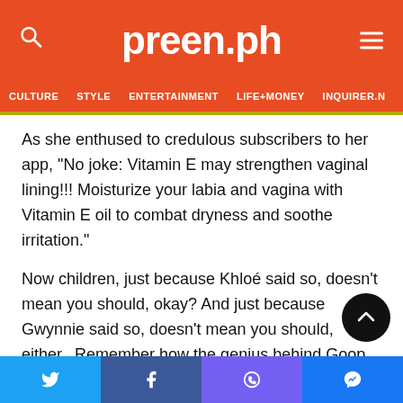preen.ph
CULTURE  STYLE  ENTERTAINMENT  LIFE+MONEY  INQUIRER.N
As she enthused to credulous subscribers to her app, “No joke: Vitamin E may strengthen vaginal lining!!! Moisturize your labia and vagina with Vitamin E oil to combat dryness and soothe irritation.”
Now children, just because Khloé said so, doesn’t mean you should, okay? And just because Gwynnie said so, doesn’t mean you should, either.  Remember how the genius behind Goop advocated for vaginal steaming not too long ago?
Pity the poor vagina.  It stretches, it contracts, and it